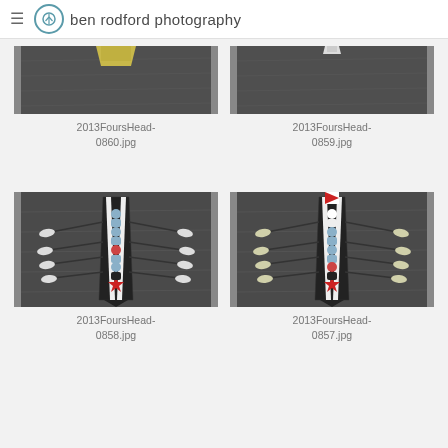ben rodford photography
[Figure (photo): Aerial view of rowing boat on dark water, cropped top showing yellow boat tip - 2013FoursHead-0860.jpg]
2013FoursHead-0860.jpg
[Figure (photo): Aerial view of rowing boat on dark water, cropped top - 2013FoursHead-0859.jpg]
2013FoursHead-0859.jpg
[Figure (photo): Aerial view of four rowers in boat on dark water, white and red boat markings - 2013FoursHead-0858.jpg]
2013FoursHead-0858.jpg
[Figure (photo): Aerial view of four rowers in boat on dark water, white and red boat markings - 2013FoursHead-0857.jpg]
2013FoursHead-0857.jpg